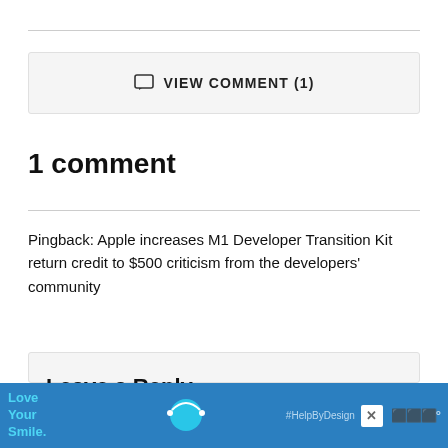VIEW COMMENT (1)
1 comment
Pingback: Apple increases M1 Developer Transition Kit return credit to $500 criticism from the developers' community
Leave a Reply
[Figure (other): Advertisement banner: Love Your Smile. #HelpByDesign with dental mask logo and close button]